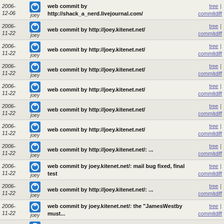| Date | User | Commit Message | Links |
| --- | --- | --- | --- |
| 2006-12-06 | joey | web commit by http://shack_a_nerd.livejournal.com/ | tree | commitdiff |
| 2006-11-22 | joey | web commit by http://joey.kitenet.net/ | tree | commitdiff |
| 2006-11-22 | joey | web commit by http://joey.kitenet.net/ | tree | commitdiff |
| 2006-11-22 | joey | web commit by http://joey.kitenet.net/ | tree | commitdiff |
| 2006-11-22 | joey | web commit by http://joey.kitenet.net/ | tree | commitdiff |
| 2006-11-22 | joey | web commit by http://joey.kitenet.net/ | tree | commitdiff |
| 2006-11-22 | joey | web commit by http://joey.kitenet.net/ | tree | commitdiff |
| 2006-11-22 | joey | web commit by http://joey.kitenet.net/ | tree | commitdiff |
| 2006-11-22 | joey | web commit by http://joey.kitenet.net/: ... | tree | commitdiff |
| 2006-11-22 | joey | web commit by joey.kitenet.net/: mail bug fixed, final test | tree | commitdiff |
| 2006-11-22 | joey | web commit by http://joey.kitenet.net/: ... | tree | commitdiff |
| 2006-11-22 | joey | web commit by joey.kitenet.net/: the "JamesWestby must... | tree | commitdiff |
| 2006- | joey | web commit by http://joey.kitenet.net/: | tree | commitdiff |